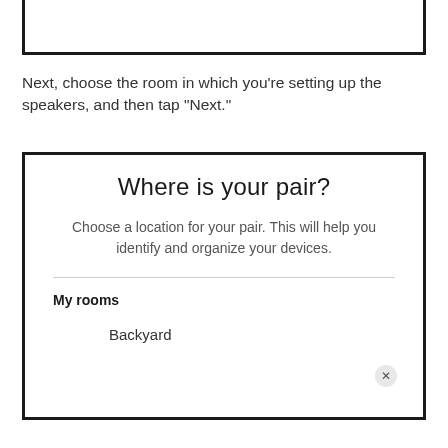[Figure (screenshot): Top portion of a mobile app screenshot showing a white box with thick black border (partial, top cut off)]
Next, choose the room in which you’re setting up the speakers, and then tap “Next.”
[Figure (screenshot): Mobile app screen titled 'Where is your pair?' with subtitle 'Choose a location for your pair. This will help you identify and organize your devices.' followed by a divider, 'My rooms' label, and 'Backyard' list item]